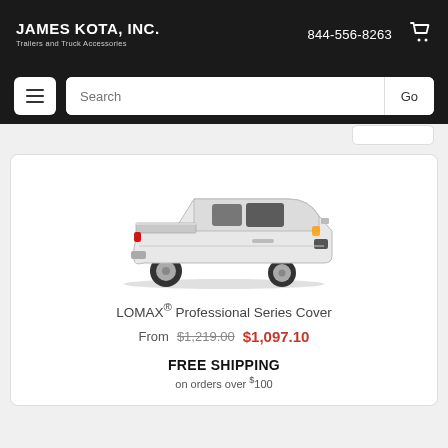JAMES KOTA, INC. Trailers and Truck Accessories | 844-556-8263
[Figure (screenshot): Website navigation bar with hamburger menu, search input, and Go button on dark background]
[Figure (photo): White Ford F-150 pickup truck with LOMAX professional series tonneau cover installed on bed, photographed from rear three-quarter angle]
LOMAX® Professional Series Cover
From $1,219.00 $1,097.10
FREE SHIPPING on orders over $100